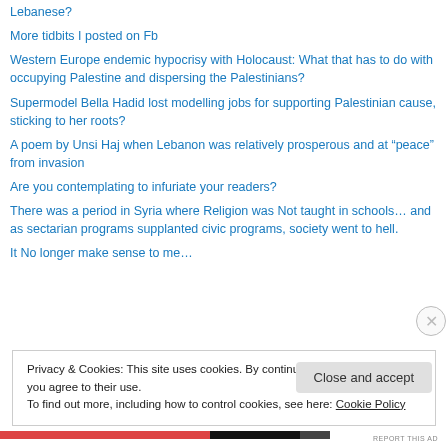Lebanese?
More tidbits I posted on Fb
Western Europe endemic hypocrisy with Holocaust: What that has to do with occupying Palestine and dispersing the Palestinians?
Supermodel Bella Hadid lost modelling jobs for supporting Palestinian cause, sticking to her roots?
A poem by Unsi Haj when Lebanon was relatively prosperous and at “peace” from invasion
Are you contemplating to infuriate your readers?
There was a period in Syria where Religion was Not taught in schools… and as sectarian programs supplanted civic programs, society went to hell.
It No longer make sense to me…
Privacy & Cookies: This site uses cookies. By continuing to use this website, you agree to their use.
To find out more, including how to control cookies, see here: Cookie Policy